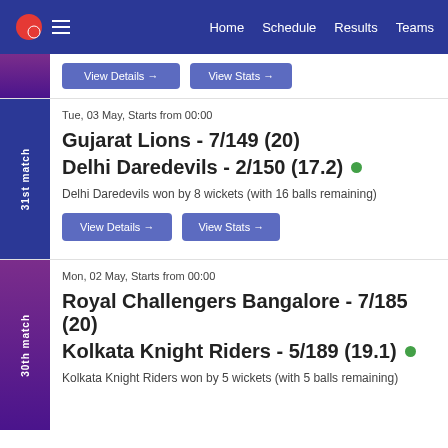Home  Schedule  Results  Teams
Tue, 03 May, Starts from 00:00
Gujarat Lions - 7/149 (20)
Delhi Daredevils - 2/150 (17.2)
Delhi Daredevils won by 8 wickets (with 16 balls remaining)
Mon, 02 May, Starts from 00:00
Royal Challengers Bangalore - 7/185 (20)
Kolkata Knight Riders - 5/189 (19.1)
Kolkata Knight Riders won by 5 wickets (with 5 balls remaining)